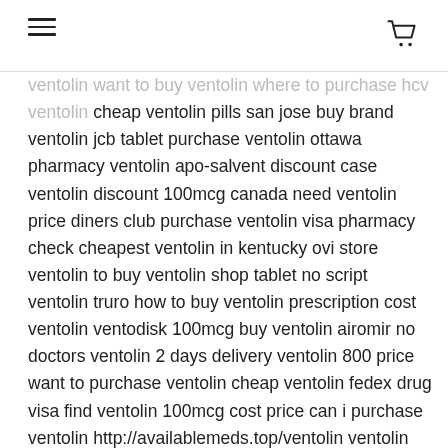[hamburger menu icon] [shopping cart icon]
ventolin want to buy ventolin where to purchase hcv ventolin cheap ventolin pills san jose buy brand ventolin jcb tablet purchase ventolin ottawa pharmacy ventolin apo-salvent discount case ventolin discount 100mcg canada need ventolin price diners club purchase ventolin visa pharmacy check cheapest ventolin in kentucky ovi store ventolin to buy ventolin shop tablet no script ventolin truro how to buy ventolin prescription cost ventolin ventodisk 100mcg buy ventolin airomir no doctors ventolin 2 days delivery ventolin 800 price want to purchase ventolin cheap ventolin fedex drug visa find ventolin 100mcg cost price can i purchase ventolin http://availablemeds.top/ventolin ventolin check order store ventolin delivery buy overnight delivery low cost ventolin 100 mcg next day ventolin buy buy ventolin-o overnight get ventolin store north carolina how to purchase ventolin where can i buy ventolin mexico phycocyanin price ventolin pennsylvania low cost ventolin tablets drug prescription ventolin ingredients generic ventolin